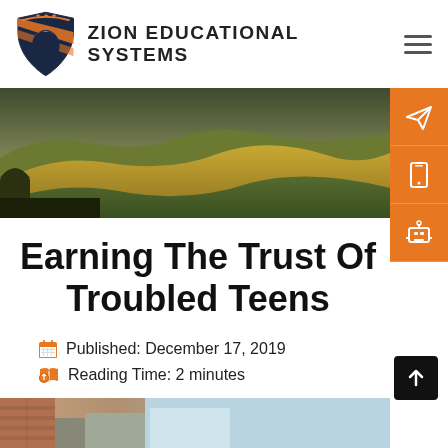ZION EDUCATIONAL SYSTEMS
[Figure (photo): Wide landscape photo of rolling golden hills and green valleys under a moody sky]
Earning The Trust Of Troubled Teens
Published: December 17, 2019
Reading Time: 2 minutes
[Figure (photo): Partial view of an indoor/room scene at bottom of page]